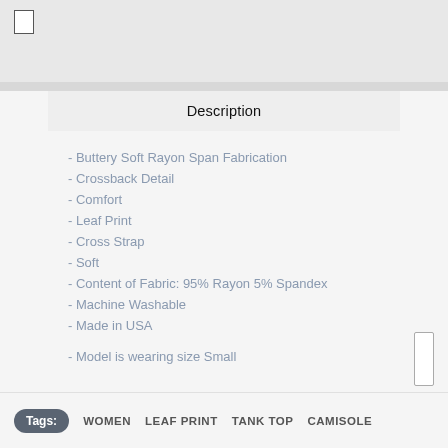Description
- Buttery Soft Rayon Span Fabrication
- Crossback Detail
- Comfort
- Leaf Print
- Cross Strap
- Soft
- Content of Fabric: 95% Rayon 5% Spandex
- Machine Washable
- Made in USA
- Model is wearing size Small
Tags: WOMEN  LEAF PRINT  TANK TOP  CAMISOLE